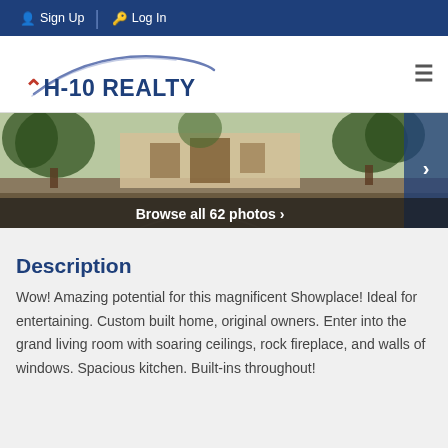Sign Up  Log In
[Figure (logo): IH-10 Realty logo with arc swoosh and hamburger menu icon]
[Figure (photo): Exterior photo of a large home with trees, driveway, and landscaping. Shows a right-arrow navigation button and 'Browse all 62 photos >' overlay at the bottom.]
Description
Wow! Amazing potential for this magnificent Showplace! Ideal for entertaining. Custom built home, original owners. Enter into the grand living room with soaring ceilings, rock fireplace, and walls of windows. Spacious kitchen. Built-ins throughout!